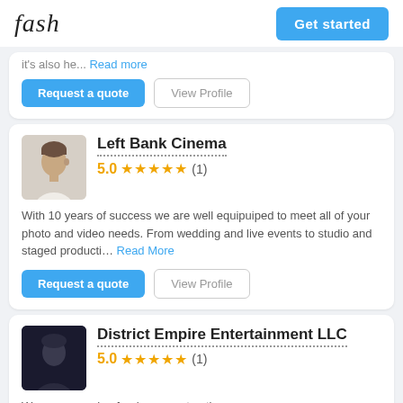fash | Get started
it's also he... Read more
Request a quote | View Profile
Left Bank Cinema
5.0 ★★★★★ (1)
With 10 years of success we are well equipuiped to meet all of your photo and video needs. From wedding and live events to studio and staged producti... Read More
Request a quote | View Profile
District Empire Entertainment LLC
5.0 ★★★★★ (1)
We are a growing freelance contracting